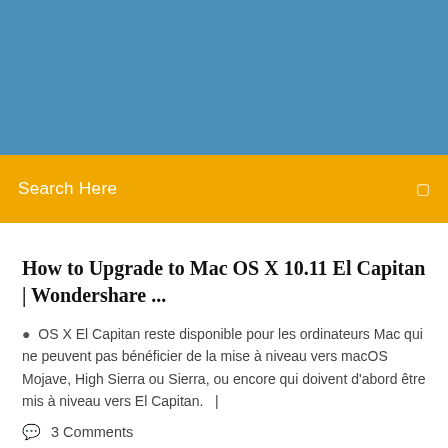[Figure (photo): Blue header banner image]
Search Here
How to Upgrade to Mac OS X 10.11 El Capitan | Wondershare ...
OS X El Capitan reste disponible pour les ordinateurs Mac qui ne peuvent pas bénéficier de la mise à niveau vers macOS Mojave, High Sierra ou Sierra, ou encore qui doivent d'abord être mis à niveau vers El Capitan.   |
3 Comments